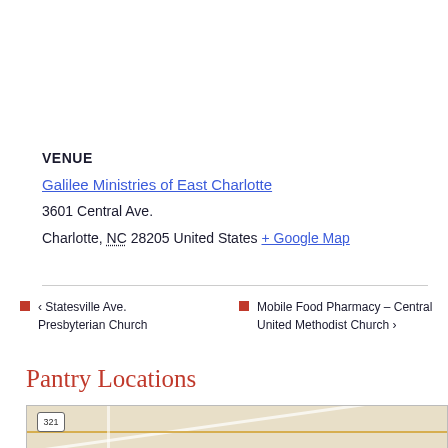VENUE
Galilee Ministries of East Charlotte
3601 Central Ave.
Charlotte, NC 28205 United States + Google Map
< Statesville Ave. Presbyterian Church
Mobile Food Pharmacy – Central United Methodist Church >
Pantry Locations
[Figure (map): Map strip showing road network near Charlotte, NC with route 321 badge visible]